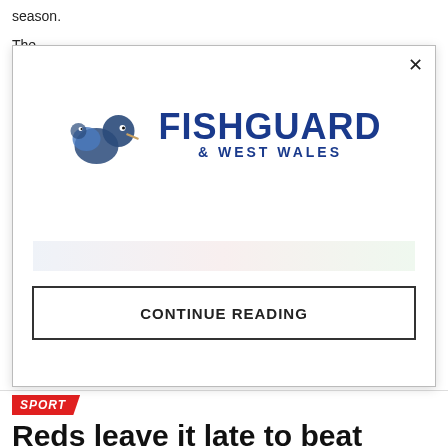season.
The
Frida
Mon
2.30pm start.
[Figure (screenshot): Modal popup overlay with Fishguard & West Wales logo, an advertisement banner, and a CONTINUE READING button with an X close button in the top right corner.]
SPORT
Reds leave it late to beat Celtic
Published 3 weeks ago on August 4, 2022
By James Hemingray